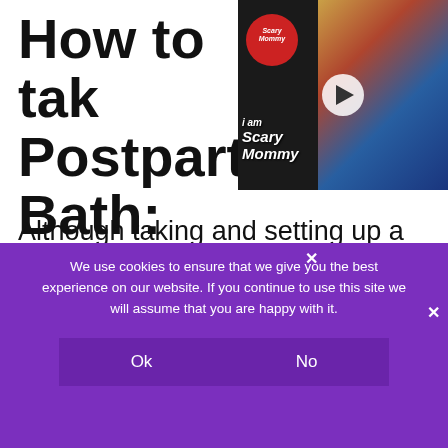How to tak Postpartum Bath:
[Figure (screenshot): Video player thumbnail from Scary Mommy website showing a young child, with the 'I am Scary Mommy' logo and a play button overlay]
Although taking and setting up a postpartum sitz bath is extremely easy, there are some things to note first.
[Figure (screenshot): CLOSE button overlay on text]
[Figure (screenshot): Macy's advertisement banner: 'KISS BORING LIPS GOODBYE' with SHOP NOW button and Macy's star logo, showing woman with red lipstick]
We use cookies to ensure that we give you the best experience on our website. If you continue to use this site we will assume that you are happy with it.
Ok
No